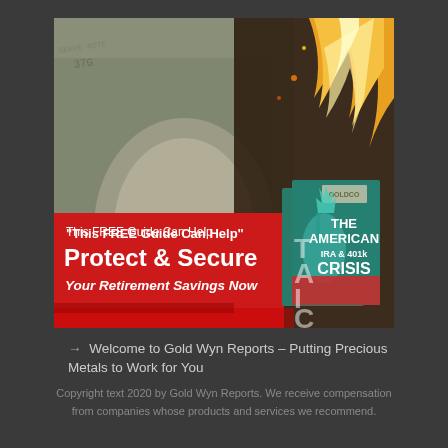[Figure (advertisement): Advertisement image showing a burning US $100 bill with Benjamin Franklin's face visible. A red banner overlay at the bottom reads: 'This FREE Guide Can Help Protect & Secure Your Retirement Savings Now'. On the right side is a book cover titled 'The American IRA & 401k Crisis' with the Goldco logo, showing the Statue of Liberty. The background fades from gold/gray tones.]
→ Welcome to Gold Wyn Reports – Putting Precious Metals to Work for You
Copyright text 2020 by Gold Wyn Reports. We receive compensation from companies whose products and services we recommend.